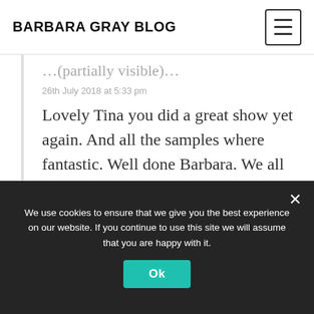BARBARA GRAY BLOG
(partially visible text above comment)
26th July 2018 at 5:33 pm
Lovely Tina you did a great show yet again. And all the samples where fantastic. Well done Barbara. We all knew you would get a sell out. You always do. Enjoy now and safe journey home. Xxxx
We use cookies to ensure that we give you the best experience on our website. If you continue to use this site we will assume that you are happy with it.
Ok